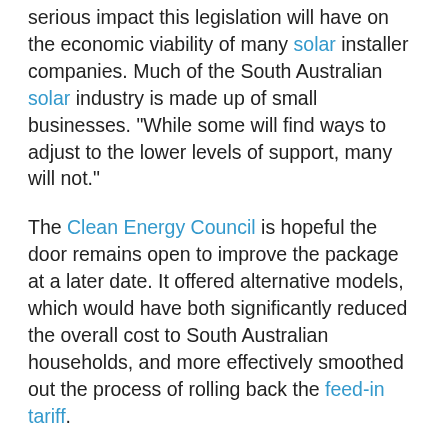serious impact this legislation will have on the economic viability of many solar installer companies. Much of the South Australian solar industry is made up of small businesses. "While some will find ways to adjust to the lower levels of support, many will not."
The Clean Energy Council is hopeful the door remains open to improve the package at a later date. It offered alternative models, which would have both significantly reduced the overall cost to South Australian households, and more effectively smoothed out the process of rolling back the feed-in tariff.
Nevertheless, the medium term outlook for the solar industry remains positive, with the costs of solar technology continuing to fall rapidly. "Grid parity" (where the cost of energy produced by solar panels is equal to what consumers pay for electricity) is likely to be achieved in three-to-five years. Solar PV is a great investment for households concerned about rising electricity prices and wanting to help cut pollution and consumers should be confident that the local industry will deliver quality products and services